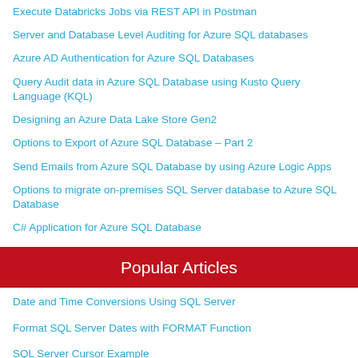Execute Databricks Jobs via REST API in Postman
Server and Database Level Auditing for Azure SQL databases
Azure AD Authentication for Azure SQL Databases
Query Audit data in Azure SQL Database using Kusto Query Language (KQL)
Designing an Azure Data Lake Store Gen2
Options to Export of Azure SQL Database – Part 2
Send Emails from Azure SQL Database by using Azure Logic Apps
Options to migrate on-premises SQL Server database to Azure SQL Database
C# Application for Azure SQL Database
Popular Articles
Date and Time Conversions Using SQL Server
Format SQL Server Dates with FORMAT Function
SQL Server Cursor Example